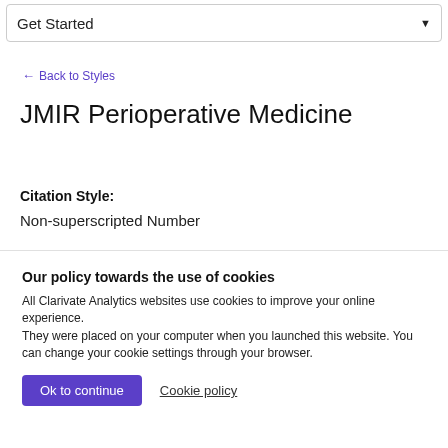Get Started
← Back to Styles
JMIR Perioperative Medicine
Citation Style:
Non-superscripted Number
Our policy towards the use of cookies
All Clarivate Analytics websites use cookies to improve your online experience. They were placed on your computer when you launched this website. You can change your cookie settings through your browser.
Ok to continue | Cookie policy